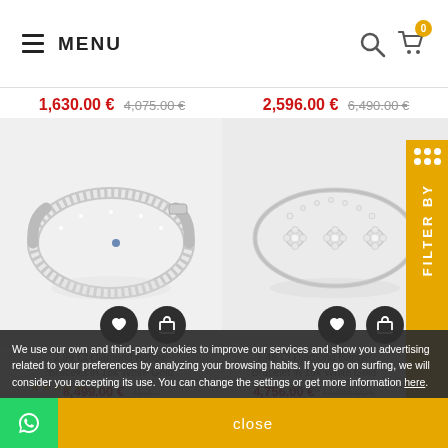MENU | Search | Cart (0)
1,630.00 € 4,075.00 €
2,596.00 € 6,490.00 €
[Figure (photo): Diamond bangle bracelet in 18k white gold with pave diamonds, open cuff style, left product]
[Figure (photo): Diamond bangle bracelet in 18k white gold with floral diamond clusters on thin band, right product]
2.99 Ct Diamond Bangle Bracelet in 18k White Gold
8,499.00 € 21,2... (truncated)
1.46 Ct Diamond Bangle Bracelet in 18k White Gold
4,756.00 € 11,065.00 €
We use our own and third-party cookies to improve our services and show you advertising related to your preferences by analyzing your browsing habits. If you go on surfing, we will consider you accepting its use. You can change the settings or get more information here.
close
1 Review
FILTER BY